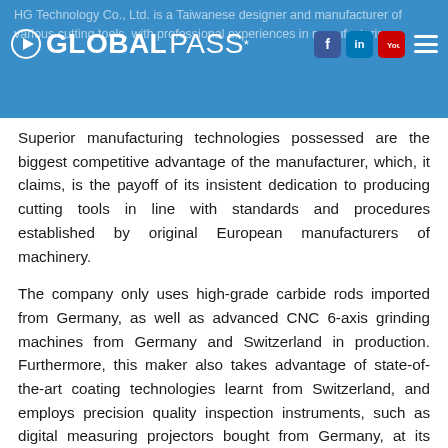HG Technology Co., Ltd. is a Taiwanese designer and manufacturer of various cutting tools, with professional experiences in manufacturing
Superior manufacturing technologies possessed are the biggest competitive advantage of the manufacturer, which, it claims, is the payoff of its insistent dedication to producing cutting tools in line with standards and procedures established by original European manufacturers of machinery.
The company only uses high-grade carbide rods imported from Germany, as well as advanced CNC 6-axis grinding machines from Germany and Switzerland in production. Furthermore, this maker also takes advantage of state-of-the-art coating technologies learnt from Switzerland, and employs precision quality inspection instruments, such as digital measuring projectors bought from Germany, at its factory, in an effort to make sure that its customers can increase work